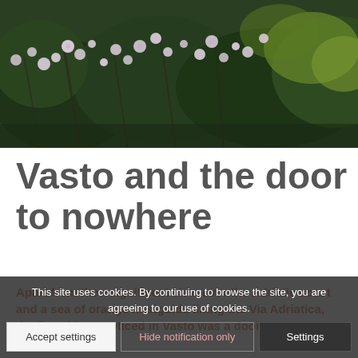[Figure (photo): A dense garden scene with flowering plants — white/pink blossoms and dark green foliage, photographed from close range.]
Vasto and the door to nowhere
Apart from the magnificent view over the Adriatic coast and a sea of orange marigolds lining the Via Adriatica, the first thing I noticed in Vasto was a door to nowhere.
This site uses cookies. By continuing to browse the site, you are agreeing to our use of cookies.